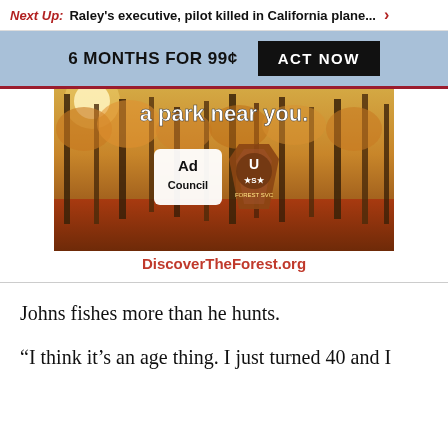Next Up: Raley's executive, pilot killed in California plane... ›
6 MONTHS FOR 99¢  ACT NOW
[Figure (illustration): Forest advertisement image with text 'a park near you.' and Ad Council and US Forest Service logos, with caption DiscoverTheForest.org]
DiscoverTheForest.org
Johns fishes more than he hunts.
“I think it’s an age thing. I just turned 40 and I